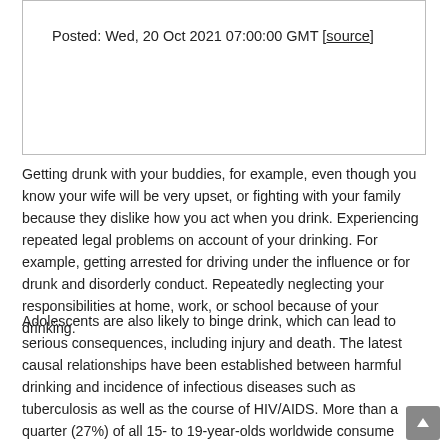Posted: Wed, 20 Oct 2021 07:00:00 GMT [source]
Getting drunk with your buddies, for example, even though you know your wife will be very upset, or fighting with your family because they dislike how you act when you drink. Experiencing repeated legal problems on account of your drinking. For example, getting arrested for driving under the influence or for drunk and disorderly conduct. Repeatedly neglecting your responsibilities at home, work, or school because of your drinking.
Adolescents are also likely to binge drink, which can lead to serious consequences, including injury and death. The latest causal relationships have been established between harmful drinking and incidence of infectious diseases such as tuberculosis as well as the course of HIV/AIDS. More than a quarter (27%) of all 15- to 19-year-olds worldwide consume